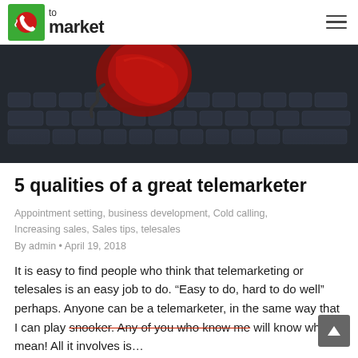to market
[Figure (photo): Close-up photo of a red telephone handset resting on dark keyboard keys, shot from above at an angle, dark moody lighting.]
5 qualities of a great telemarketer
Appointment setting, business development, Cold calling, Increasing sales, Sales tips, telesales
By admin • April 19, 2018
It is easy to find people who think that telemarketing or telesales is an easy job to do. “Easy to do, hard to do well” perhaps. Anyone can be a telemarketer, in the same way that I can play snooker. Any of you who know me will know what I mean! All it involves is…